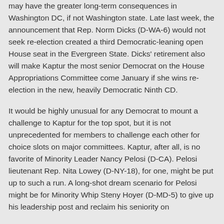may have the greater long-term consequences in Washington DC, if not Washington state. Late last week, the announcement that Rep. Norm Dicks (D-WA-6) would not seek re-election created a third Democratic-leaning open House seat in the Evergreen State. Dicks' retirement also will make Kaptur the most senior Democrat on the House Appropriations Committee come January if she wins re-election in the new, heavily Democratic Ninth CD.
It would be highly unusual for any Democrat to mount a challenge to Kaptur for the top spot, but it is not unprecedented for members to challenge each other for choice slots on major committees. Kaptur, after all, is no favorite of Minority Leader Nancy Pelosi (D-CA). Pelosi lieutenant Rep. Nita Lowey (D-NY-18), for one, might be put up to such a run. A long-shot dream scenario for Pelosi might be for Minority Whip Steny Hoyer (D-MD-5) to give up his leadership post and reclaim his seniority on